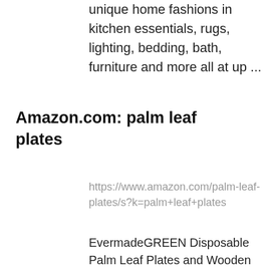unique home fashions in kitchen essentials, rugs, lighting, bedding, bath, furniture and more all at up ...
Amazon.com: palm leaf plates
https://www.amazon.com/palm-leaf-plates/s?k=palm+leaf+plates
EvermadeGREEN Disposable Palm Leaf Plates and Wooden Utensils 150 Pc - Eco Friendly